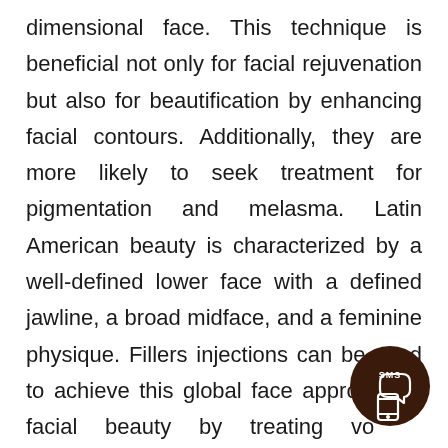dimensional face. This technique is beneficial not only for facial rejuvenation but also for beautification by enhancing facial contours. Additionally, they are more likely to seek treatment for pigmentation and melasma. Latin American beauty is characterized by a well-defined lower face with a defined jawline, a broad midface, and a feminine physique. Fillers injections can be used to achieve this global face approach to facial beauty by treating volume depletion and modeling facial contours: cheek, tear trough, temporal hollows, chin, and